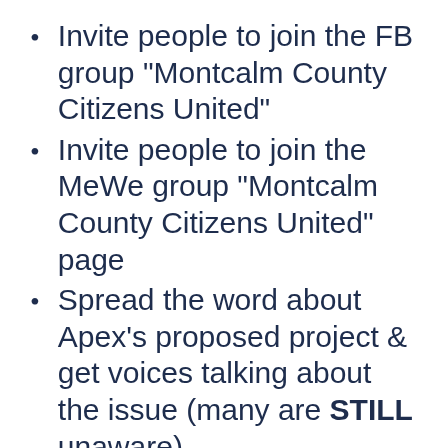Invite people to join the FB group "Montcalm County Citizens United"
Invite people to join the MeWe group "Montcalm County Citizens United" page
Spread the word about Apex's proposed project & get voices talking about the issue (many are STILL unaware)
Hand out FLYERS to others in the area to help educate them on the